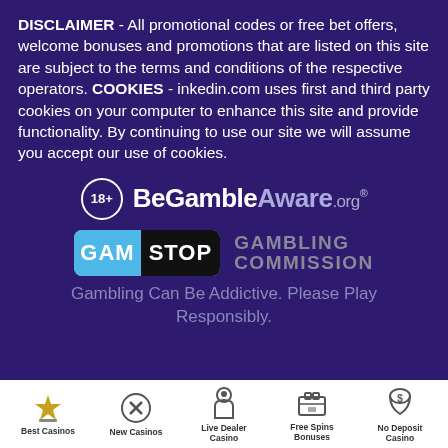DISCLAIMER - All promotional codes or free bet offers, welcome bonuses and promotions that are listed on this site are subject to the terms and conditions of the respective operators. COOKIES - inkedin.com uses first and third party cookies on your computer to enhance this site and provide functionality. By continuing to use our site we will assume you accept our use of cookies.
[Figure (logo): BeGambleAware.org logo with 18+ circle badge]
[Figure (logo): GamStop and Gambling Commission logos side by side]
Gambling Can Be Addictive. Please Play Responsibly.
[Figure (infographic): Footer navigation bar with icons: Best Casinos, New Casinos, Live Dealer Casino, Free Spins Bonuses, No Deposit Casino]